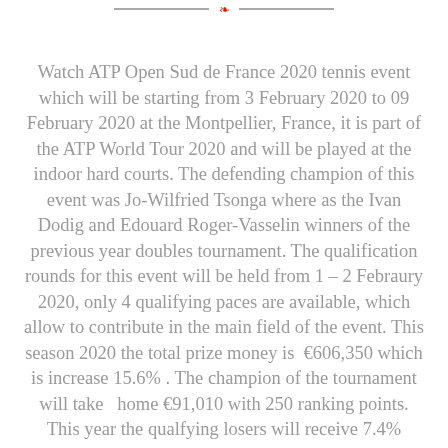[Figure (other): Decorative header line with a small red ornament in the center]
Watch ATP Open Sud de France 2020 tennis event which will be starting from 3 February 2020 to 09 February 2020 at the Montpellier, France, it is part of the ATP World Tour 2020 and will be played at the indoor hard courts. The defending champion of this event was Jo-Wilfried Tsonga where as the Ivan Dodig and Edouard Roger-Vasselin winners of the previous year doubles tournament. The qualification rounds for this event will be held from 1 – 2 Febraury 2020, only 4 qualifying paces are available, which allow to contribute in the main field of the event. This season 2020 the total prize money is  €606,350 which is increase 15.6% . The champion of the tournament will take  home €91,010 with 250 ranking points. This year the qualfying losers will receive 7.4%